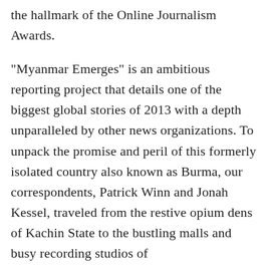the hallmark of the Online Journalism Awards.

"Myanmar Emerges" is an ambitious reporting project that details one of the biggest global stories of 2013 with a depth unparalleled by other news organizations. To unpack the promise and peril of this formerly isolated country also known as Burma, our correspondents, Patrick Winn and Jonah Kessel, traveled from the restive opium dens of Kachin State to the bustling malls and busy recording studios of